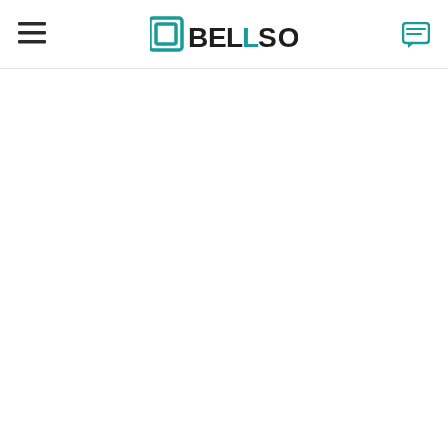[Figure (logo): BellSoft company logo with teal/dark color scheme, hamburger menu icon on left, chat icon on right]
BellSoft website header navigation bar